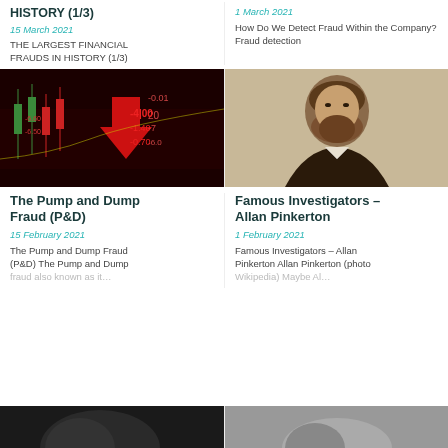HISTORY (1/3)
15 March 2021
THE LARGEST FINANCIAL FRAUDS IN HISTORY (1/3)
How Do We Detect Fraud Within the Company? Fraud detection
1 March 2021
[Figure (photo): Stock market screen showing red falling candlestick chart with numbers -0.01, -4.00, -1.40, -0.70 and a large red downward arrow]
[Figure (photo): Sepia portrait photograph of Allan Pinkerton, a bearded man in 19th century attire]
The Pump and Dump Fraud (P&D)
15 February 2021
The Pump and Dump Fraud (P&D) The Pump and Dump fraud also known as it…
Famous Investigators – Allan Pinkerton
1 February 2021
Famous Investigators – Allan Pinkerton Allan Pinkerton (photo Wikipedia) Maybe Al…
[Figure (photo): Dark partial photograph, bottom left card]
[Figure (photo): Gray partial photograph, bottom right card]